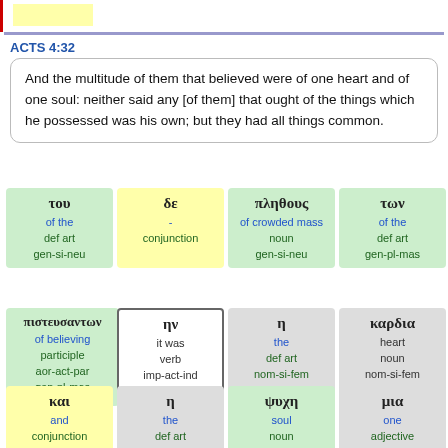ACTS 4:32
And the multitude of them that believed were of one heart and of one soul: neither said any [of them] that ought of the things which he possessed was his own; but they had all things common.
| του | δε | πληθους | των |
| --- | --- | --- | --- |
| of the | - | of crowded mass | of the |
| def art | conjunction | noun | def art |
| gen-si-neu |  | gen-si-neu | gen-pl-mas |
| πιστευσαντων | ην | η | καρδια |
| --- | --- | --- | --- |
| of believing | it was | the | heart |
| participle | verb | def art | noun |
| aor-act-par | imp-act-ind | nom-si-fem | nom-si-fem |
| gen-pl-mas | 3rd-p si |  |  |
| και | η | ψυχη | μια |
| --- | --- | --- | --- |
| and | the | soul | one |
| conjunction | def art | noun | adjective |
|  | nom-si-fem | nom-si-fem | nom-si-fem |